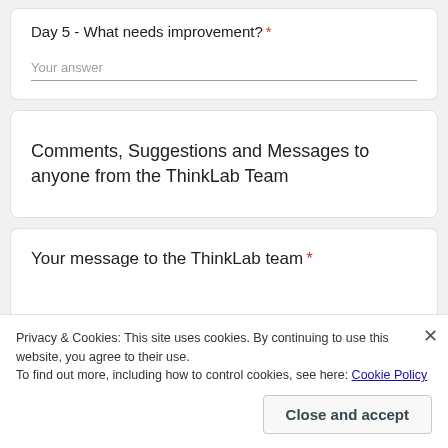Day 5 - What needs improvement? *
Your answer
Comments, Suggestions and Messages to anyone from the ThinkLab Team
Your message to the ThinkLab team *
Privacy & Cookies: This site uses cookies. By continuing to use this website, you agree to their use.
To find out more, including how to control cookies, see here: Cookie Policy
Close and accept